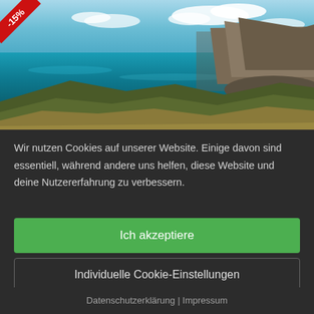[Figure (photo): Scenic coastal landscape with turquoise ocean water, mountain headland in background, rocky and green vegetation in foreground, blue sky with clouds. A red discount ribbon in top-left corner shows '-15%'.]
Wir nutzen Cookies auf unserer Website. Einige davon sind essentiell, während andere uns helfen, diese Website und deine Nutzererfahrung zu verbessern.
Ich akzeptiere
Individuelle Cookie-Einstellungen
Nur essenzielle Cookies akzeptieren
Datenschutzerklärung | Impressum